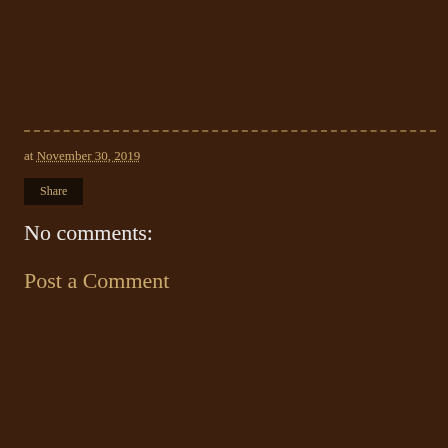at November 30, 2019
Share
No comments:
Post a Comment
< Home > View web version Powered by Blogger.